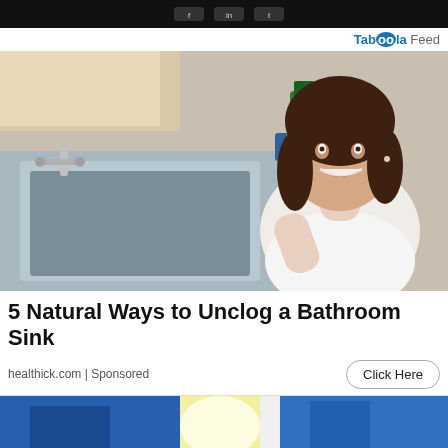[Figure (photo): Dark banner at top of page with social media icons]
Taboola Feed
[Figure (photo): Woman smiling at camera while kneeling next to a kitchen sink, with cleaning products visible on the counter]
5 Natural Ways to Unclog a Bathroom Sink
healthick.com | Sponsored
Click Here
[Figure (photo): Partial image at bottom showing two people in business attire, one in blue jacket]